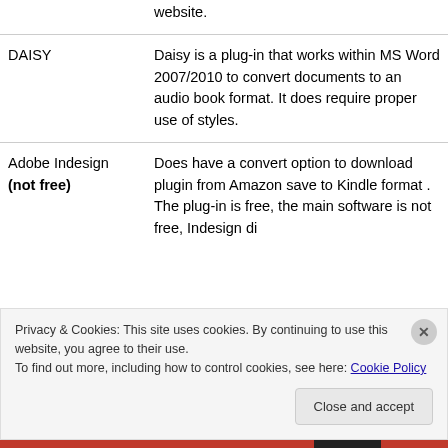|  | website. |
| DAISY | Daisy is a plug-in that works within MS Word 2007/2010 to convert documents to an audio book format. It does require proper use of styles. |
| Adobe Indesign (not free) | Does have a convert option to download plugin from Amazon save to Kindle format . The plug-in is free, the main software is not free, Indesign di... |
Privacy & Cookies: This site uses cookies. By continuing to use this website, you agree to their use.
To find out more, including how to control cookies, see here: Cookie Policy